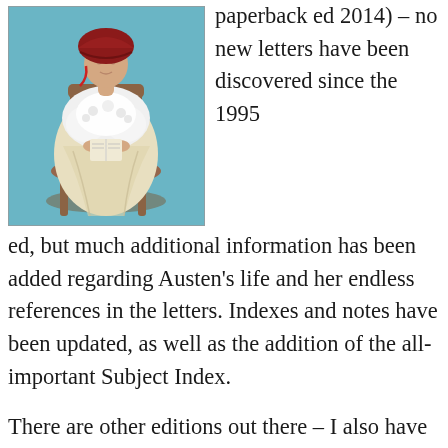[Figure (illustration): Colorized illustration of a seated woman in historical dress, wearing a red bonnet, reading or writing, seated in a chair. Background is light teal/blue.]
paperback ed 2014) – no new letters have been discovered since the 1995 ed, but much additional information has been added regarding Austen's life and her endless references in the letters. Indexes and notes have been updated, as well as the addition of the all-important Subject Index.
There are other editions out there – I also have the small Oxford World Classics blue hardcover of Chapman Letters with the dust jacket, not often seen – if you should find this, buy it immediately…